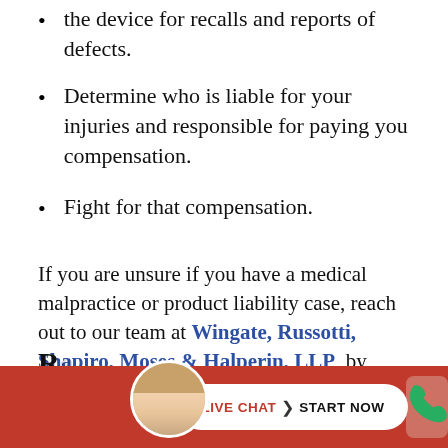the device for recalls and reports of defects.
Determine who is liable for your injuries and responsible for paying you compensation.
Fight for that compensation.
If you are unsure if you have a medical malpractice or product liability case, reach out to our team at Wingate, Russotti, Shapiro, Moses & Halperin, LLP, by calling (347) 767-4102.
[Figure (other): Red footer bar with circular avatar photo of a smiling woman, a white pill-shaped Live Chat / Start Now button, and a partial green phone icon on the right edge.]